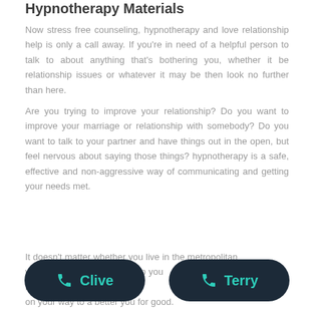Hypnotherapy Materials
Now stress free counseling, hypnotherapy and love relationship help is only a call away. If you're in need of a helpful person to talk to about anything that's bothering you, whether it be relationship issues or whatever it may be then look no further than here.
Are you trying to improve your relationship? Do you want to improve your marriage or relationship with somebody? Do you want to talk to your partner and have things out in the open, but feel nervous about saying those things? hypnotherapy is a safe, effective and non-aggressive way of communicating and getting your needs met.
It doesn't matter whether you live in the metropolitan ... own in this stat... can help you ... Hypnosis is effe... on your way to a better you for good.
[Figure (other): Two dark pill-shaped call buttons side by side: 'Clive' on the left and 'Terry' on the right, both with teal phone icons and teal text on dark navy background.]